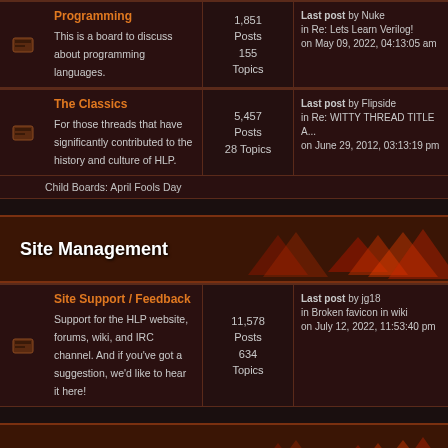|  | Forum | Stats | Last Post |
| --- | --- | --- | --- |
| [icon] | Programming
This is a board to discuss about programming languages. | 1,851 Posts
155 Topics | Last post by Nuke
in Re: Lets Learn Verilog!
on May 09, 2022, 04:13:05 am |
| [icon] | The Classics
For those threads that have significantly contributed to the history and culture of HLP. | 5,457 Posts
28 Topics | Last post by Flipside
in Re: WITTY THREAD TITLE A...
on June 29, 2012, 03:13:19 pm |
Child Boards: April Fools Day
Site Management
|  | Forum | Stats | Last Post |
| --- | --- | --- | --- |
| [icon] | Site Support / Feedback
Support for the HLP website, forums, wiki, and IRC channel. And if you've got a suggestion, we'd like to hear it here! | 11,578 Posts
634 Topics | Last post by jg18
in Broken favicon in wiki
on July 12, 2022, 11:53:40 pm |
Archived Boards